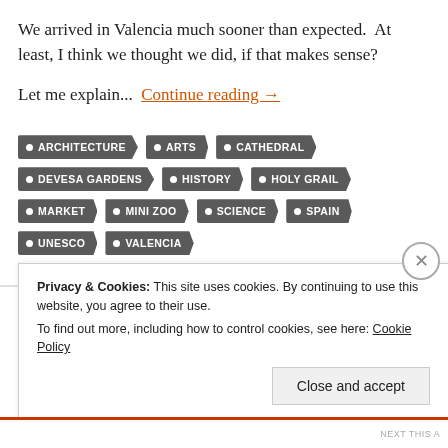We arrived in Valencia much sooner than expected.  At least, I think we thought we did, if that makes sense?
Let me explain...  Continue reading →
ARCHITECTURE
ARTS
CATHEDRAL
DEVESA GARDENS
HISTORY
HOLY GRAIL
MARKET
MINI ZOO
SCIENCE
SPAIN
UNESCO
VALENCIA
Privacy & Cookies: This site uses cookies. By continuing to use this website, you agree to their use. To find out more, including how to control cookies, see here: Cookie Policy
Close and accept